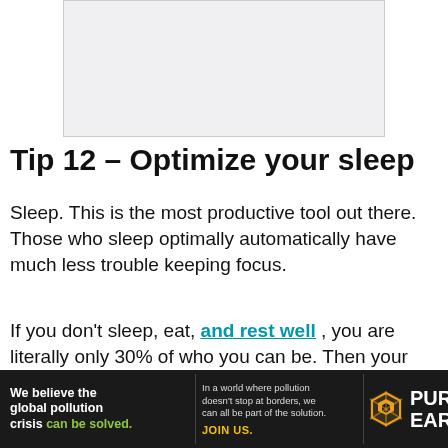[Figure (other): Blank/light gray image placeholder at top of page]
Tip 12 – Optimize your sleep
Sleep. This is the most productive tool out there. Those who sleep optimally automatically have much less trouble keeping focus.
If you don't sleep, eat, and rest well , you are literally only 30% of who you can be. Then your brain is not connected to your creativity,
[Figure (other): Pure Earth advertisement banner: 'We believe the global pollution crisis can be solved. In a world where pollution doesn't stop at borders, we can all be part of the solution. JOIN US.' with Pure Earth logo.]